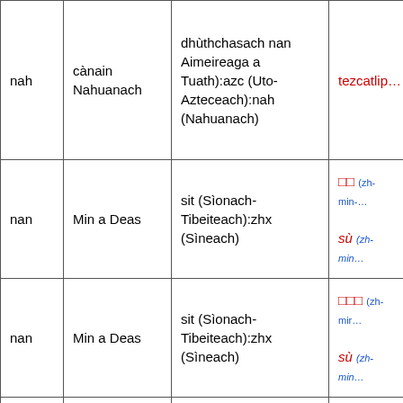| nah | cànain Nahuanach | dhùthchasach nan Aimeireaga a Tuath):azc (Uto-Azteceach):nah (Nahuanach) | tezcatlip… |
| nan | Min a Deas | sit (Sìonach-Tibeiteach):zhx (Sìneach) | □□ (zh-min-…
sù (zh-min… |
| nan | Min a Deas | sit (Sìonach-Tibeiteach):zhx (Sìneach) | □□□ (zh-mir…
sù (zh-min… |
| nan | Min a Deas | sit (Sìonach-Tibeiteach):zhx (Sìneach) | □□□ (zh-mir… |
|  |  | ine (Innd-Fòrnach):itc… |  |